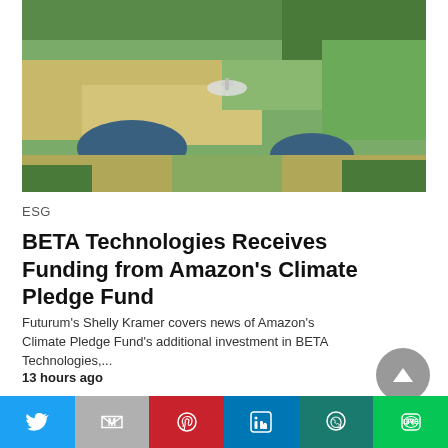[Figure (photo): Aerial view of farmland with two ponds and a drone or small aircraft visible, surrounded by green trees and fields]
ESG
BETA Technologies Receives Funding from Amazon's Climate Pledge Fund
Futurum's Shelly Kramer covers news of Amazon's Climate Pledge Fund's additional investment in BETA Technologies,...
13 hours ago